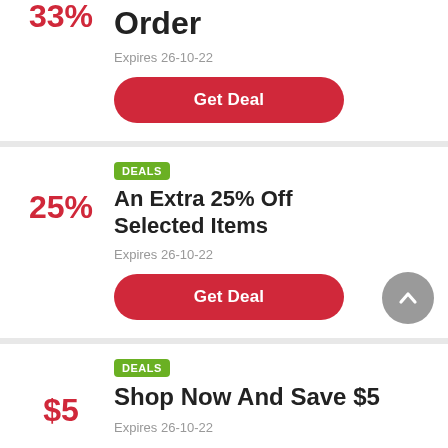33%
Order
Expires 26-10-22
Get Deal
DEALS
An Extra 25% Off Selected Items
25%
Expires 26-10-22
Get Deal
DEALS
Shop Now And Save $5
$5
Expires 26-10-22